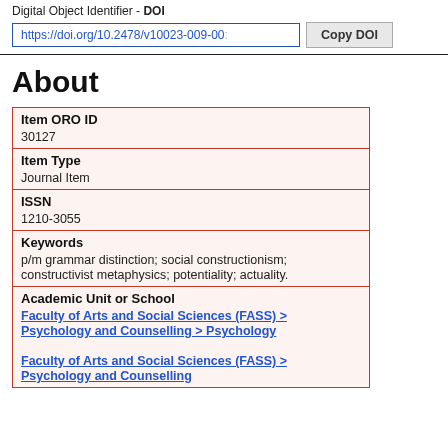Digital Object Identifier - DOI
https://doi.org/10.2478/v10023-009-00...
About
| Field | Value |
| --- | --- |
| Item ORO ID | 30127 |
| Item Type | Journal Item |
| ISSN | 1210-3055 |
| Keywords | p/m grammar distinction; social constructionism; constructivist metaphysics; potentiality; actuality. |
| Academic Unit or School | Faculty of Arts and Social Sciences (FASS) > Psychology and Counselling > Psychology

Faculty of Arts and Social Sciences (FASS) > Psychology and Counselling |